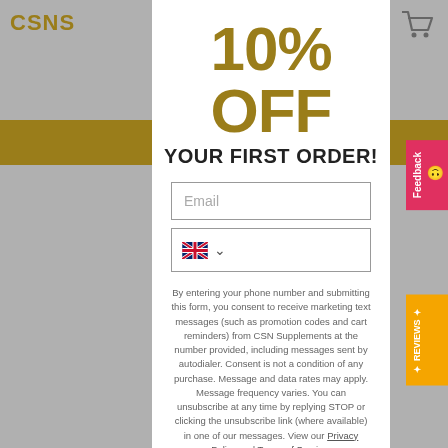10% OFF YOUR FIRST ORDER!
[Figure (screenshot): Email input field placeholder]
[Figure (screenshot): UK phone country selector dropdown]
By entering your phone number and submitting this form, you consent to receive marketing text messages (such as promotion codes and cart reminders) from CSN Supplements at the number provided, including messages sent by autodialer. Consent is not a condition of any purchase. Message and data rates may apply. Message frequency varies. You can unsubscribe at any time by replying STOP or clicking the unsubscribe link (where available) in one of our messages. View our Privacy Policy and Terms of Service.